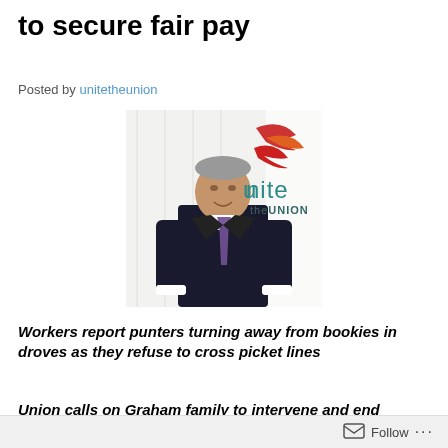to secure fair pay
Posted by unitetheunion
[Figure (photo): A man in a dark suit and purple tie standing in front of a Unite the Union logo/sign on a white wall]
Workers report punters turning away from bookies in droves as they refuse to cross picket lines
Union calls on Graham family to intervene and end
Follow ...